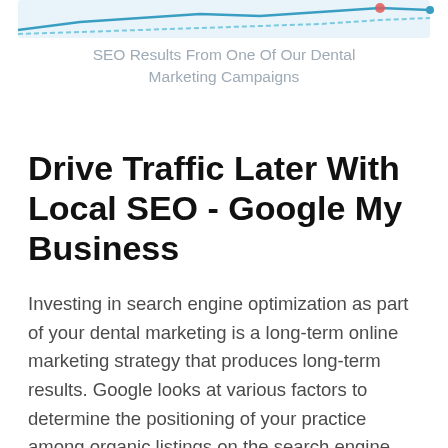[Figure (continuous-plot): Partial view of an SEO line chart showing traffic results from a dental marketing campaign — only the top portion (lines and shaded areas) is visible, cropped at the top of the page.]
SEO Results From One Of Our Dental Marketing Campaigns
Drive Traffic Later With Local SEO - Google My Business
Investing in search engine optimization as part of your dental marketing is a long-term online marketing strategy that produces long-term results. Google looks at various factors to determine the positioning of your practice among organic listings on the search engine results page. SEO combines multiple strategies that work together to often